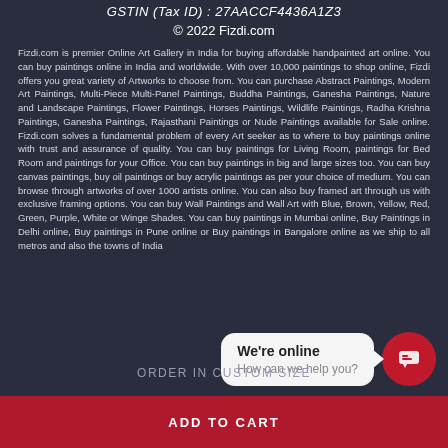GSTIN (Tax ID) : 27AACCF4436A1Z3
© 2022 Fizdi.com
Fizdi.com is premier Online Art Gallery in India for buying affordable handpainted art online. You can buy paintings online in India and worldwide. With over 10,000 paintings to shop online, Fizdi offers you great variety of Artworks to choose from. You can purchase Abstract Paintings, Modern Art Paintings, Multi-Piece Multi-Panel Paintings, Buddha Paintings, Ganesha Paintings, Nature and Landscape Paintings, Flower Paintings, Horses Paintings, Wildlife Paintings, Radha Krishna Paintings, Ganesha Paintings, Rajasthani Paintings or Nude Paintings available for Sale online. Fizdi.com solves a fundamental problem of every Art seeker as to where to buy paintings online with trust and assurance of quality. You can buy paintings for Living Room, paintings for Bed Room and paintings for your Office. You can buy paintings in big and large sizes too. You can buy canvas paintings, buy oil paintings or buy acrylic paintings as per your choice of medium. You can browse through artworks of over 1000 artists online. You can also buy framed art through us with exclusive framing options. You can buy Wall Paintings and Wall Art with Blue, Brown, Yellow, Red, Green, Purple, White or Winge Shades. You can buy paintings in Mumbai online, Buy Paintings in Delhi online, Buy paintings in Pune online or Buy paintings in Bangalore online as we ship to all metros and also the towns of India
[Figure (other): Chat widget with 'We're online / How can we help you?' bubble and red chat icon button]
ORDER IN CUSTOM SIZE
ADD TO CART